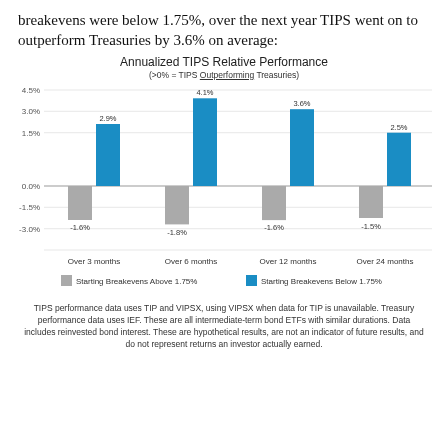breakevens were below 1.75%, over the next year TIPS went on to outperform Treasuries by 3.6% on average:
[Figure (grouped-bar-chart): Annualized TIPS Relative Performance]
TIPS performance data uses TIP and VIPSX, using VIPSX when data for TIP is unavailable. Treasury performance data uses IEF. These are all intermediate-term bond ETFs with similar durations. Data includes reinvested bond interest. These are hypothetical results, are not an indicator of future results, and do not represent returns an investor actually earned.